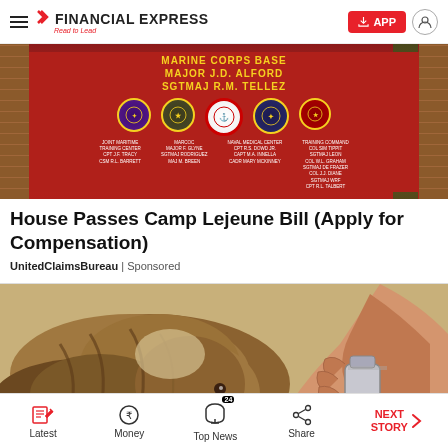FINANCIAL EXPRESS — Read to Lead
[Figure (photo): Marine Corps Base sign with multiple military unit emblems on a red background, flanked by brick walls and trees]
House Passes Camp Lejeune Bill (Apply for Compensation)
UnitedClaimsBureau | Sponsored
[Figure (illustration): Illustration of a shaggy brown dog with a hand holding a bottle or container]
Latest | Money | Top News 24 | Share | NEXT STORY